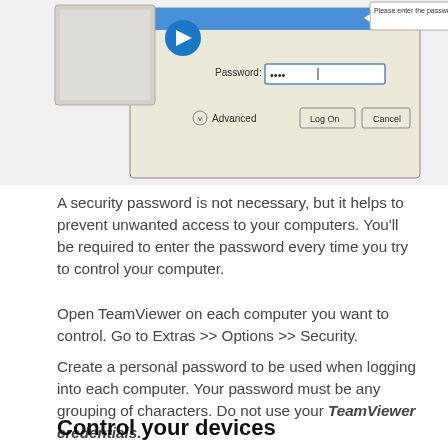[Figure (screenshot): Screenshot of TeamViewer login dialog showing a password field with dots, Advanced option, Log On and Cancel buttons, and a tooltip saying 'Please enter the password 0211 and press the logon button.']
A security password is not necessary, but it helps to prevent unwanted access to your computers. You'll be required to enter the password every time you try to control your computer.
Open TeamViewer on each computer you want to control. Go to Extras >> Options >> Security.
Create a personal password to be used when logging into each computer. Your password must be any grouping of characters. Do not use your TeamViewer credentials.
Control your devices